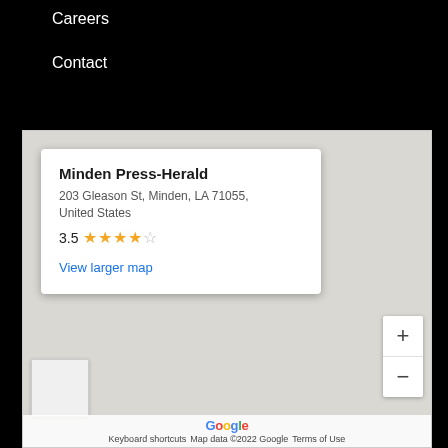Careers
Contact
[Figure (map): Google Maps embed showing Minden Press-Herald location at 203 Gleason St, Minden, LA 71055. Info card shows business name, address, 3.5 star rating, and 'View larger map' link. Map has zoom controls and Google branding at bottom.]
Keyboard shortcuts   Map data ©2022 Google   Terms of Use